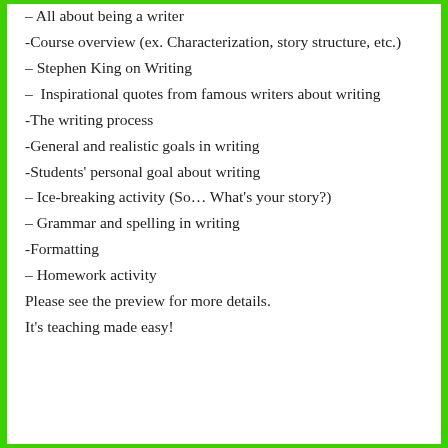– All about being a writer
-Course overview (ex. Characterization, story structure, etc.)
– Stephen King on Writing
– Inspirational quotes from famous writers about writing
-The writing process
-General and realistic goals in writing
-Students' personal goal about writing
– Ice-breaking activity (So… What's your story?)
– Grammar and spelling in writing
-Formatting
– Homework activity
Please see the preview for more details.
It's teaching made easy!